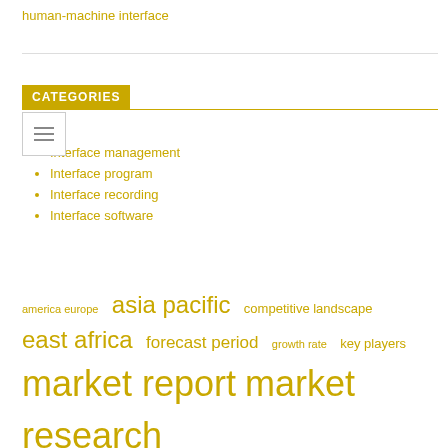human-machine interface
CATEGORIES
Interface management
Interface program
Interface recording
Interface software
america europe  asia pacific  competitive landscape  east africa  forecast period  growth rate  key players  market report  market research  market share  market size  middle east  north america  research report  united states